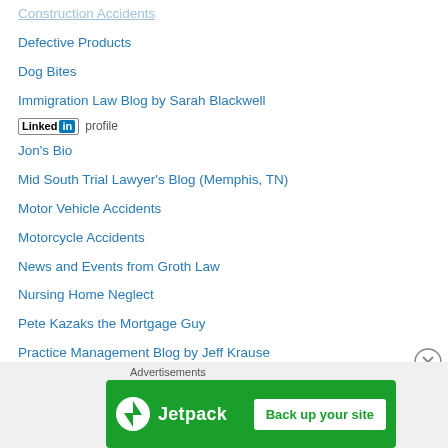Construction Accidents
Defective Products
Dog Bites
Immigration Law Blog by Sarah Blackwell
[Figure (logo): LinkedIn profile logo badge with 'Linked in profile' text]
Jon's Bio
Mid South Trial Lawyer's Blog (Memphis, TN)
Motor Vehicle Accidents
Motorcycle Accidents
News and Events from Groth Law
Nursing Home Neglect
Pete Kazaks the Mortgage Guy
Practice Management Blog by Jeff Krause
Professional Photographer
Rob Teuber Tax Guy
Sean Sweeney's Business Law Blog
Semi Truck Accidents
Advertisements
[Figure (screenshot): Jetpack advertisement banner with 'Back up your site' button on green background]